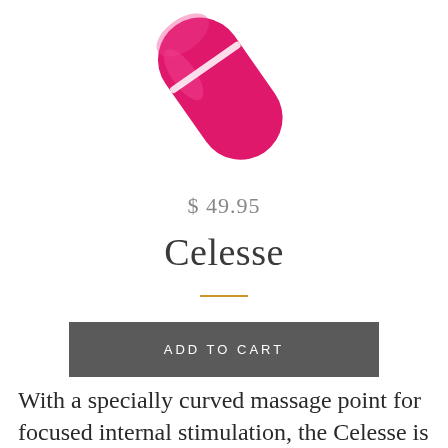[Figure (photo): A hot pink elongated bullet-shaped massage device, shown at an angle against a white background. The device has a white line near the top.]
$ 49.95
Celesse
ADD TO CART
With a specially curved massage point for focused internal stimulation, the Celesse is fully waterproof...